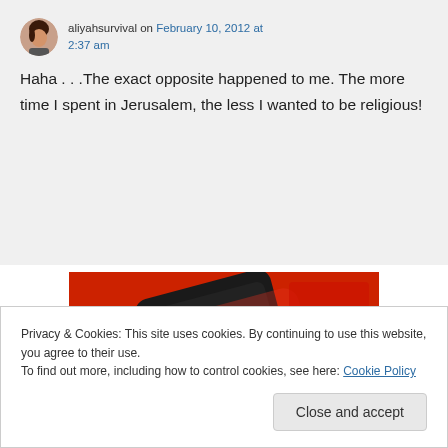aliyahsurvival on February 10, 2012 at 2:37 am
Haha . . .The exact opposite happened to me. The more time I spent in Jerusalem, the less I wanted to be religious!
[Figure (photo): A smartphone displaying a media player interface with play/pause controls on a red background]
Privacy & Cookies: This site uses cookies. By continuing to use this website, you agree to their use.
To find out more, including how to control cookies, see here: Cookie Policy
Close and accept